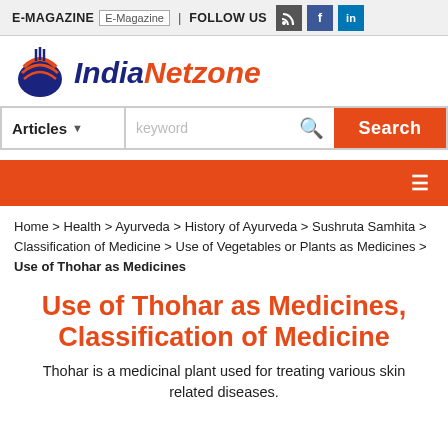E-MAGAZINE | E-Magazine | FOLLOW US
[Figure (logo): IndiaNetzone logo with stylized globe icon and italic text India in dark blue, Netzone in orange]
[Figure (screenshot): Search bar with Articles dropdown, keyword input, and orange Search button]
[Figure (screenshot): Orange navigation bar with hamburger menu icon on the right]
Home > Health > Ayurveda > History of Ayurveda > Sushruta Samhita > Classification of Medicine > Use of Vegetables or Plants as Medicines > Use of Thohar as Medicines
Use of Thohar as Medicines, Classification of Medicine
Thohar is a medicinal plant used for treating various skin related diseases.